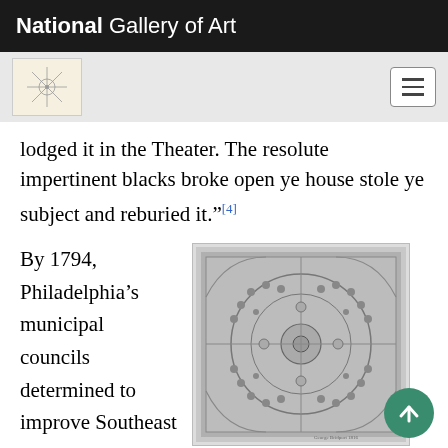National Gallery of Art
lodged it in the Theater. The resolute impertinent blacks broke open ye house stole ye subject and reburied it."[4]
By 1794, Philadelphia's municipal councils determined to improve Southeast Square by removing the burying ground,
[Figure (photo): Architectural plan drawing showing a circular garden design with symmetrical quadrants, paths, and plantings]
Fig. 2, George Bridport, “Design for Washington Monument, Washington Square, Philadelphia,” 1816.